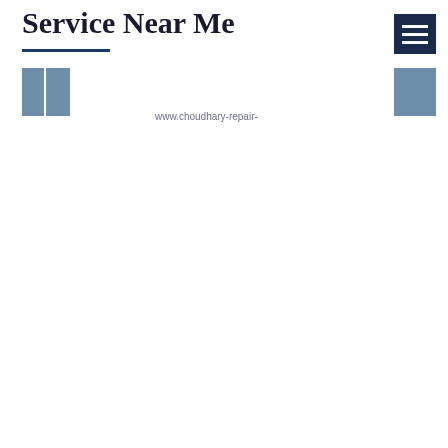Service Near Me
[Figure (screenshot): Navigation menu button (hamburger icon) with dark navy background and three white horizontal lines]
[Figure (photo): Left image placeholder showing two grey-blue rectangular panels side by side]
[Figure (photo): Right image placeholder showing a grey-blue rectangular panel]
www.choudhary-repair-